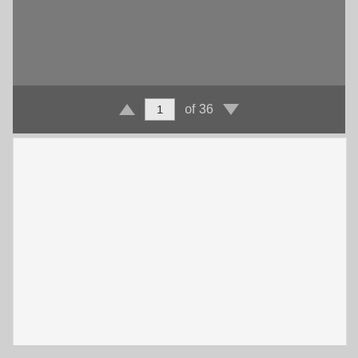[Figure (screenshot): PDF viewer interface showing a dark gray toolbar at top, a navigation bar with up arrow, page number input showing '1', 'of 36' text, and down arrow on a dark background, and a blank white/light gray content area below representing page 1 of a 36-page document.]